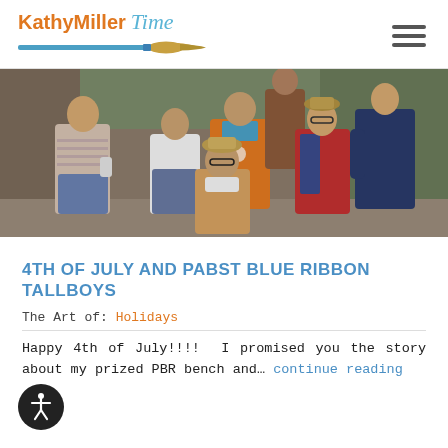KathyMiller Time
[Figure (photo): A group of people outdoors, some wearing colorful jackets and vests, appearing to be at a casual outdoor gathering. Vintage photo style.]
4TH OF JULY AND PABST BLUE RIBBON TALLBOYS
The Art of: Holidays
Happy 4th of July!!!!  I promised you the story about my prized PBR bench and… continue reading